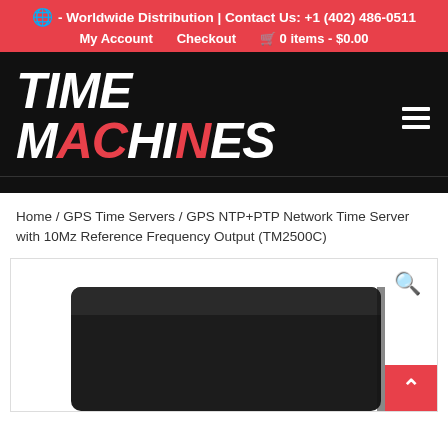🌐 - Worldwide Distribution | Contact Us: +1 (402) 486-0511 | My Account | Checkout | 🛒 0 items - $0.00
[Figure (logo): Time Machines logo in bold white italic text on black background, with letters A, C in red digital-display style. Hamburger menu icon on right.]
Home / GPS Time Servers / GPS NTP+PTP Network Time Server with 10Mz Reference Frequency Output (TM2500C)
[Figure (photo): Black rectangular network time server device (TM2500C) shown from a slight angle, on white background.]